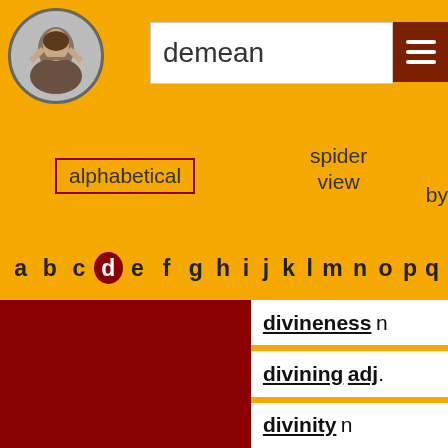[Figure (illustration): Shakespeare portrait circular medallion]
demean
alphabetical
spider view
by frequency
by
a b c d e f g h i j k l m n o p q
divineness n
divining adj.
divinity n